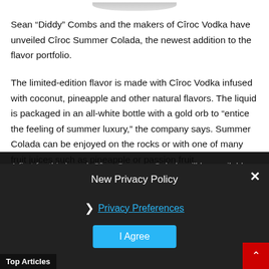[Figure (photo): Bottom portion of a white bottle (Cîroc Summer Colada) visible at the very top of the page]
Sean “Diddy” Combs and the makers of Cîroc Vodka have unveiled Cîroc Summer Colada, the newest addition to the flavor portfolio.
The limited-edition flavor is made with Cîroc Vodka infused with coconut, pineapple and other natural flavors. The liquid is packaged in an all-white bottle with a gold orb to “entice the feeling of summer luxury,” the company says. Summer Colada can be enjoyed on the rocks or with one of many fruit juices such as pineapple or passion fruit.
A first for this brand, Cîroc Summer Colada will be available for a limited time only.
New Privacy Policy
› Privacy Preferences
I Agree
Top Articles